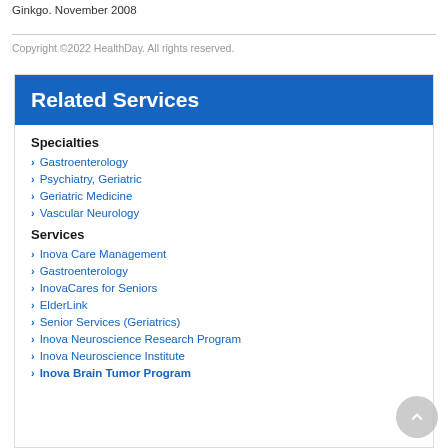Ginkgo. November 2008
Copyright ©2022 HealthDay. All rights reserved.
Related Services
Specialties
Gastroenterology
Psychiatry, Geriatric
Geriatric Medicine
Vascular Neurology
Services
Inova Care Management
Gastroenterology
InovaCares for Seniors
ElderLink
Senior Services (Geriatrics)
Inova Neuroscience Research Program
Inova Neuroscience Institute
Inova Brain Tumor Program